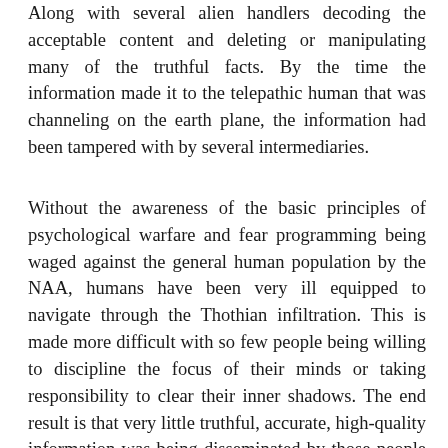Along with several alien handlers decoding the acceptable content and deleting or manipulating many of the truthful facts. By the time the information made it to the telepathic human that was channeling on the earth plane, the information had been tampered with by several intermediaries.
Without the awareness of the basic principles of psychological warfare and fear programming being waged against the general human population by the NAA, humans have been very ill equipped to navigate through the Thothian infiltration. This is made more difficult with so few people being willing to discipline the focus of their minds or taking responsibility to clear their inner shadows. The end result is that very little truthful, accurate, high-quality information was being disseminated by those people with reasonably good intentions, who were acting as the intelligence anchors for sharing channeled information or related